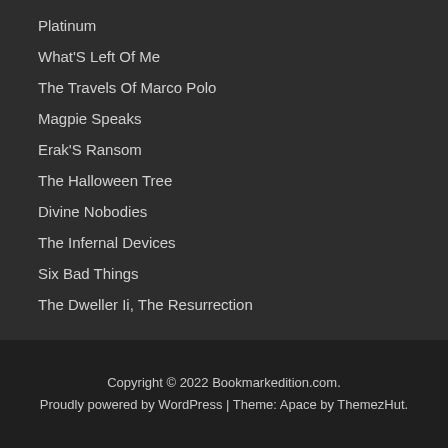Platinum
What'S Left Of Me
The Travels Of Marco Polo
Magpie Speaks
Erak'S Ransom
The Halloween Tree
Divine Nobodies
The Infernal Devices
Six Bad Things
The Dweller Ii, The Resurrection
Copyright © 2022 Bookmarkedition.com. Proudly powered by WordPress | Theme: Apace by ThemezHut.